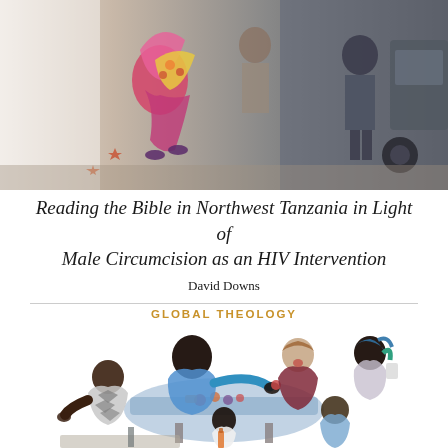[Figure (illustration): Colorful illustrated image showing people dancing or celebrating, with abstract and figurative elements in a collage style.]
Reading the Bible in Northwest Tanzania in Light of Male Circumcision as an HIV Intervention
David Downs
GLOBAL THEOLOGY
[Figure (illustration): Colorful illustration of a diverse group of people sitting around a table sharing a meal together, including adults and a child.]